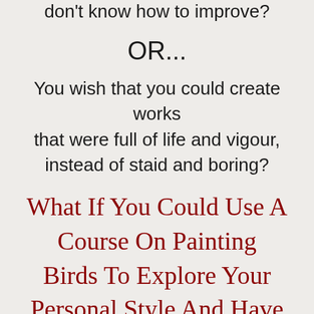don't know how to improve?
OR...
You wish that you could create works that were full of life and vigour, instead of staid and boring?
What If You Could Use A Course On Painting Birds To Explore Your Personal Style And Have